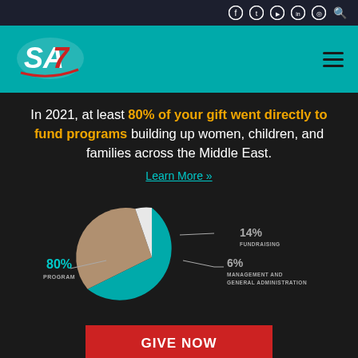SAT7 website header with social media icons and navigation
In 2021, at least 80% of your gift went directly to fund programs building up women, children, and families across the Middle East.
Learn More »
[Figure (pie-chart): Gift allocation 2021]
GIVE NOW